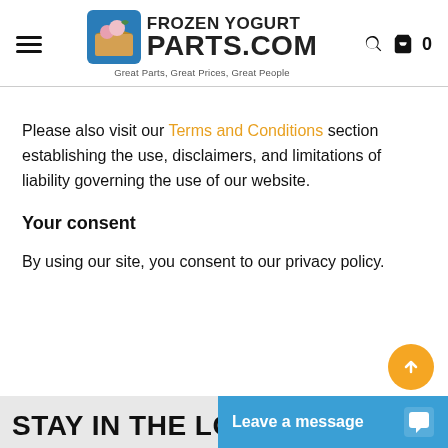Frozen Yogurt Parts.com — Great Parts, Great Prices, Great People
Please also visit our Terms and Conditions section establishing the use, disclaimers, and limitations of liability governing the use of our website.
Your consent
By using our site, you consent to our privacy policy.
STAY IN THE LOO...